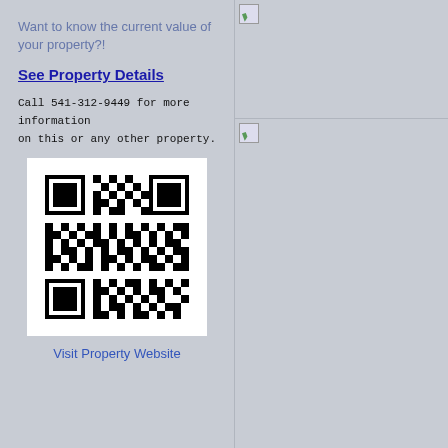Want to know the current value of your property?!
See Property Details
Call 541-312-9449 for more information on this or any other property.
[Figure (other): QR code linking to property website]
Visit Property Website
[Figure (photo): Broken/placeholder image icon (top right panel)]
[Figure (photo): Broken/placeholder image icon (middle right panel)]
[Figure (photo): Broken/placeholder image icon (bottom right panel)]